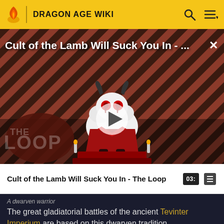DRAGON AGE WIKI
[Figure (screenshot): Video thumbnail for 'Cult of the Lamb Will Suck You In - The Loop' showing a cartoon lamb character on a red throne against a diagonal striped background, with THE LOOP logo at bottom-left and a play button in the center]
Cult of the Lamb Will Suck You In - The Loop
A dwarven warrior
The great gladiatorial battles of the ancient Tevinter Imperium are based on this dwarven tradition.